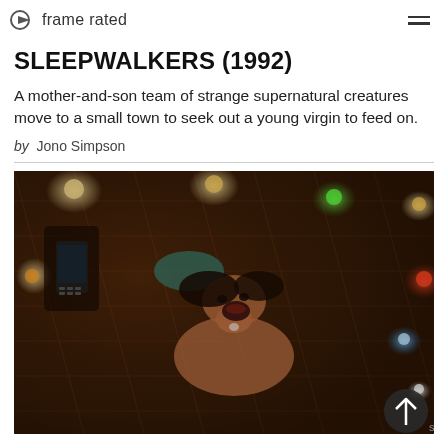frame rated
SLEEPWALKERS (1992)
A mother-and-son team of strange supernatural creatures move to a small town to seek out a young virgin to feed on.
by Jono Simpson
[Figure (photo): A dark, dramatic still from the 1992 film Sleepwalkers showing a young woman lying on a tiled floor with her mouth open in a scream, with glowing colored lights (green, red, white) in the background and a dark figure holding a phone overhead. A back-to-top arrow button appears in the bottom right corner.]